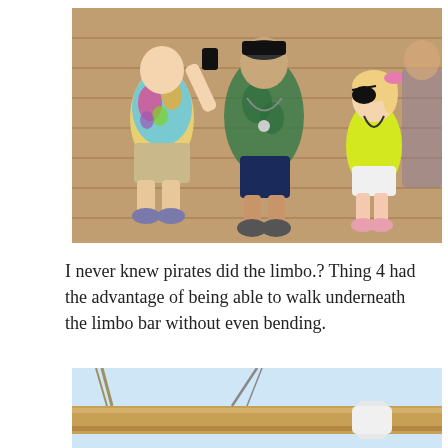[Figure (photo): Three children standing on a wooden dock/boardwalk. Left child wears a tie-dye shirt and khaki shorts. Middle child wears a green patterned robe and navy shorts. Right child (small girl) wears a yellow shirt, white shorts, and a pirate eye patch with a pink bow.]
I never knew pirates did the limbo.? Thing 4 had the advantage of being able to walk underneath the limbo bar without even bending.
[Figure (photo): Close-up of a wooden nautical spar/boom on a sailing vessel, with ropes and rigging visible against a light blue sky.]